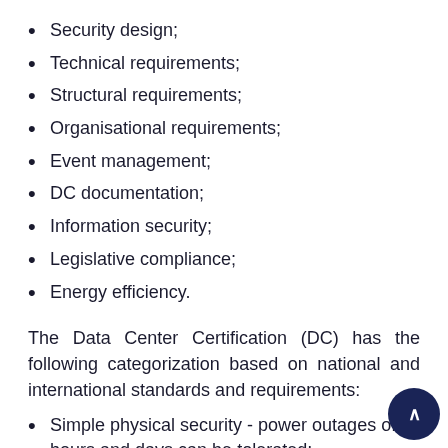Security design;
Technical requirements;
Structural requirements;
Organisational requirements;
Event management;
DC documentation;
Information security;
Legislative compliance;
Energy efficiency.
The Data Center Certification (DC) has the following categorization based on national and international standards and requirements:
Simple physical security - power outages of hours and days can be tolerated;
High Level data centre with inspection window...